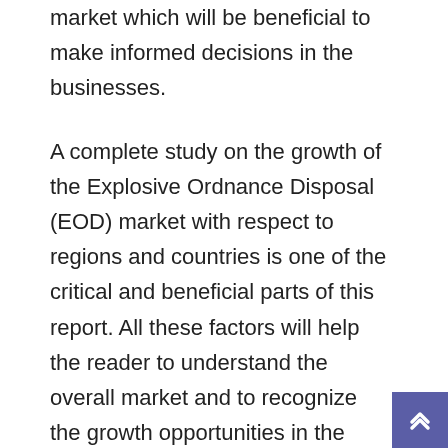market which will be beneficial to make informed decisions in the businesses.
A complete study on the growth of the Explosive Ordnance Disposal (EOD) market with respect to regions and countries is one of the critical and beneficial parts of this report. All these factors will help the reader to understand the overall market and to recognize the growth opportunities in the industry. Explosive Ordnance Disposal (EOD) is the process of delivering Explosive Ordnance Disposal (EOD) analytical data on inventory levels, consumer demand, sales, and supply chain movement as they are